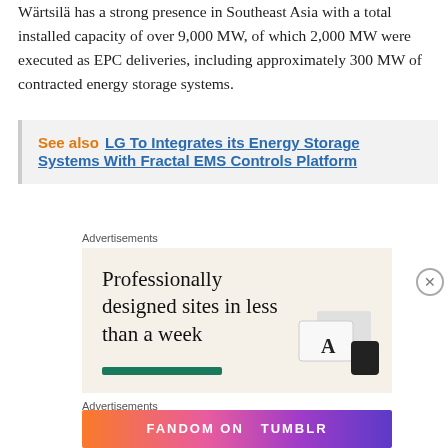Wärtsilä has a strong presence in Southeast Asia with a total installed capacity of over 9,000 MW, of which 2,000 MW were executed as EPC deliveries, including approximately 300 MW of contracted energy storage systems.
See also  LG To Integrates its Energy Storage Systems With Fractal EMS Controls Platform
[Figure (other): Advertisement banner: 'Professionally designed sites in less than a week' on a beige background with a green button and product card images.]
[Figure (other): Advertisement banner: 'FANDOM ON tumblr' on a colorful gradient background with doodle patterns.]